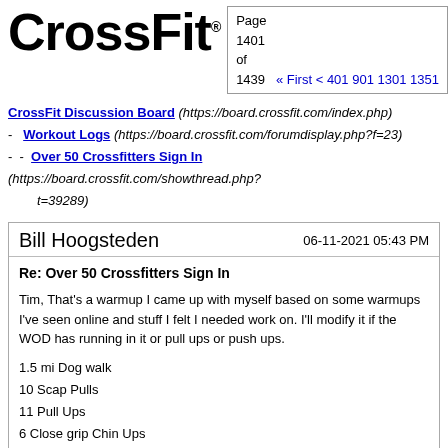CrossFit® (logo)
Page 1401 of 1439 — « First < 401 901 1301 1351
CrossFit Discussion Board (https://board.crossfit.com/index.php)
- Workout Logs (https://board.crossfit.com/forumdisplay.php?f=23)
- - Over 50 Crossfitters Sign In (https://board.crossfit.com/showthread.php?t=39289)
Bill Hoogsteden  06-11-2021 05:43 PM
Re: Over 50 Crossfitters Sign In
Tim, That's a warmup I came up with myself based on some warmups I've seen online and stuff I felt I needed work on. I'll modify it if the WOD has running in it or pull ups or push ups.
1.5 mi Dog walk
10 Scap Pulls
11 Pull Ups
6 Close grip Chin Ups
10 1.5 Pood KBS
5 Shoulder Press @ 45 lbs
5 Shoulder Press @ 55 lbs
5 Shoulder Press @ 75 lbs
10 Shoulder Press @ 55 lbs